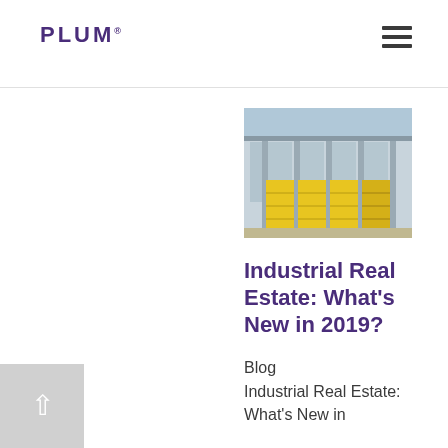PLUM
[Figure (photo): Warehouse exterior with yellow industrial doors and glass facade]
Industrial Real Estate: What's New in 2019?
Blog Industrial Real Estate: What's New in